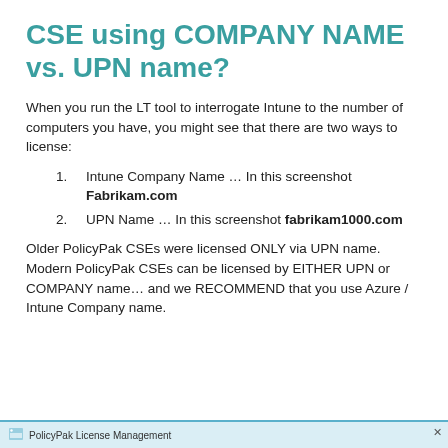CSE using COMPANY NAME vs. UPN name?
When you run the LT tool to interrogate Intune to the number of computers you have, you might see that there are two ways to license:
Intune Company Name … In this screenshot Fabrikam.com
UPN Name … In this screenshot fabrikam1000.com
Older PolicyPak CSEs were licensed ONLY via UPN name.
Modern PolicyPak CSEs can be licensed by EITHER UPN or COMPANY name… and we RECOMMEND that you use Azure / Intune Company name.
[Figure (screenshot): Partial screenshot of PolicyPak License Management window at the bottom of the page]